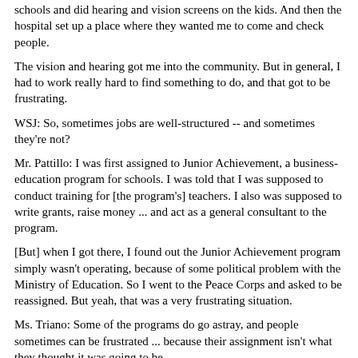schools and did hearing and vision screens on the kids. And then the hospital set up a place where they wanted me to come and check people.
The vision and hearing got me into the community. But in general, I had to work really hard to find something to do, and that got to be frustrating.
WSJ: So, sometimes jobs are well-structured -- and sometimes they're not?
Mr. Pattillo: I was first assigned to Junior Achievement, a business-education program for schools. I was told that I was supposed to conduct training for [the program's] teachers. I also was supposed to write grants, raise money ... and act as a general consultant to the program.
[But] when I got there, I found out the Junior Achievement program simply wasn't operating, because of some political problem with the Ministry of Education. So I went to the Peace Corps and asked to be reassigned. But yeah, that was a very frustrating situation.
Ms. Triano: Some of the programs do go astray, and people sometimes can be frustrated ... because their assignment isn't what they thought it was going to be.
But the [Peace Corps] directors [in each country] have a responsibility to make sure that the volunteers are productive ... and that they're doing something that's beneficial to the community. By and large, the majority of people complete their assignments as they're supposed to.
WSJ: Is it more difficult to find an assignment as a couple, as opposed to an individual?